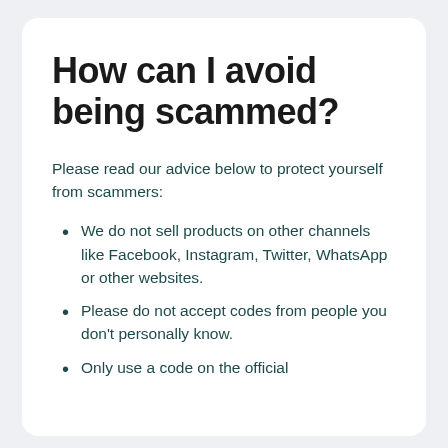How can I avoid being scammed?
Please read our advice below to protect yourself from scammers:
We do not sell products on other channels like Facebook, Instagram, Twitter, WhatsApp or other websites.
Please do not accept codes from people you don't personally know.
Only use a code on the official